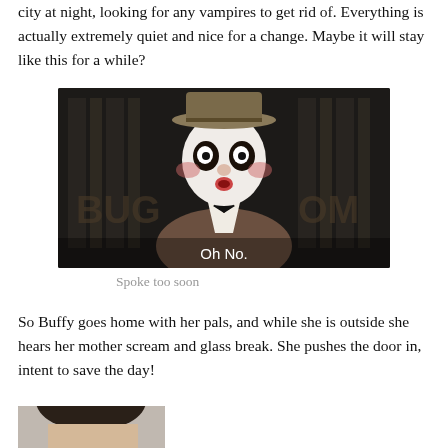city at night, looking for any vampires to get rid of. Everything is actually extremely quiet and nice for a change. Maybe it will stay like this for a while?
[Figure (photo): A mime or clown character wearing a bowler hat and brown tweed jacket with a bow tie, white face paint with exaggerated features, with subtitle text 'Oh No.' at the bottom, dark background with partial letters visible]
Spoke too soon
So Buffy goes home with her pals, and while she is outside she hears her mother scream and glass break. She pushes the door in, intent to save the day!
[Figure (photo): Partial photo of a man's face, cropped showing mostly hair and top of face, black and white or muted tones]